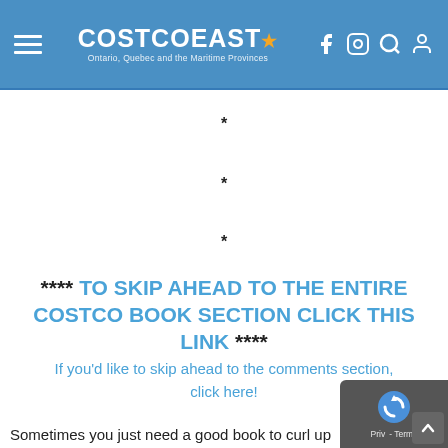COSTCO EAST — Ontario, Quebec and the Maritime Provinces
*
*
*
**** TO SKIP AHEAD TO THE ENTIRE COSTCO BOOK SECTION CLICK THIS LINK ****
If you'd like to skip ahead to the comments section, click here!
Sometimes you just need a good book to curl up with